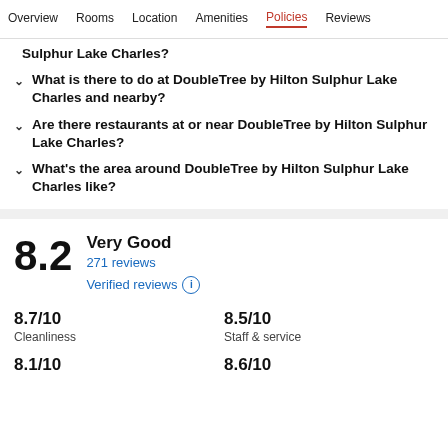Overview  Rooms  Location  Amenities  Policies  Reviews
Sulphur Lake Charles?
What is there to do at DoubleTree by Hilton Sulphur Lake Charles and nearby?
Are there restaurants at or near DoubleTree by Hilton Sulphur Lake Charles?
What's the area around DoubleTree by Hilton Sulphur Lake Charles like?
8.2
Very Good
271 reviews
Verified reviews
8.7/10
Cleanliness
8.5/10
Staff & service
8.1/10
8.6/10